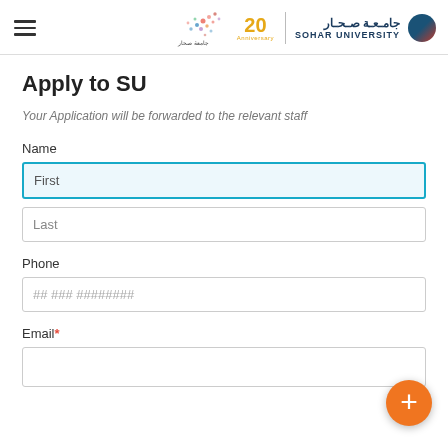Sohar University - Apply to SU
Apply to SU
Your Application will be forwarded to the relevant staff
Name
First
Last
Phone
## ### ########
Email*